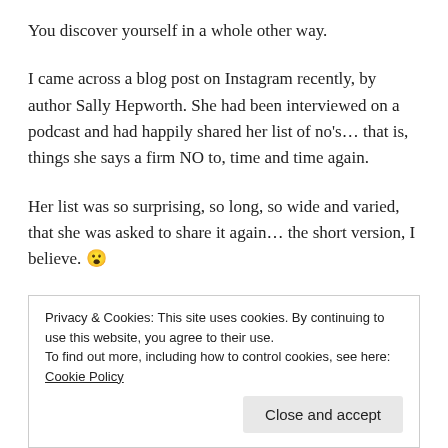You discover yourself in a whole other way.
I came across a blog post on Instagram recently, by author Sally Hepworth. She had been interviewed on a podcast and had happily shared her list of no's… that is, things she says a firm NO to, time and time again.
Her list was so surprising, so long, so wide and varied, that she was asked to share it again… the short version, I believe. 😮
Here are some (emphasis on 'some') of the insane things
Privacy & Cookies: This site uses cookies. By continuing to use this website, you agree to their use.
To find out more, including how to control cookies, see here: Cookie Policy
Close and accept